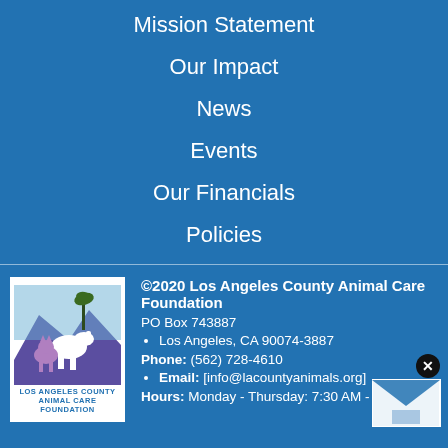Mission Statement
Our Impact
News
Events
Our Financials
Policies
[Figure (logo): Los Angeles County Animal Care Foundation logo with horse and cat silhouette against purple mountain background]
©2020 Los Angeles County Animal Care Foundation
PO Box 743887
• Los Angeles, CA 90074-3887
Phone: (562) 728-4610
• Email: [info@lacountyanimals.org]
Hours: Monday - Thursday: 7:30 AM - 5:00 PM